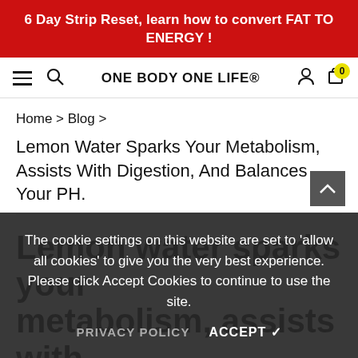6 Day Strip Reset, learn how to convert FAT TO ENERGY !
[Figure (screenshot): Navigation bar with hamburger menu, search icon, ONE BODY ONE LIFE® logo, account icon, and cart icon with badge showing 0]
Home > Blog >
Lemon Water Sparks Your Metabolism, Assists With Digestion, And Balances Your PH.
Lemon water sparks your metabolism, assists with digestion, and balances your pH.
The cookie settings on this website are set to 'allow all cookies' to give you the very best experience. Please click Accept Cookies to continue to use the site.
PRIVACY POLICY   ACCEPT ✔